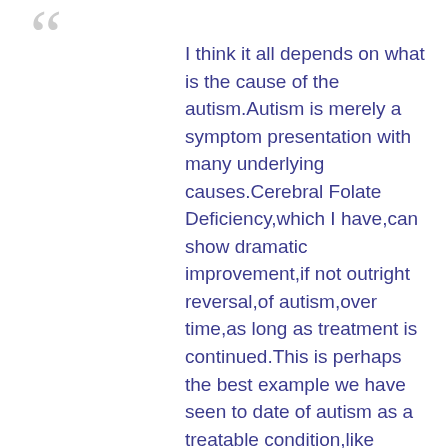I think it all depends on what is the cause of the autism.Autism is merely a symptom presentation with many underlying causes.Cerebral Folate Deficiency,which I have,can show dramatic improvement,if not outright reversal,of autism,over time,as long as treatment is continued.This is perhaps the best example we have seen to date of autism as a treatable condition,like diabetes,epliepsy,etc.I have been treating my CFD daily since 2009.
Cerebral Folate Deficiency is now shown to exist with any number of conditions,autoimmune,chronic infection,metabolic,or single gene mutations.In my case,we know I have some sort of genetic